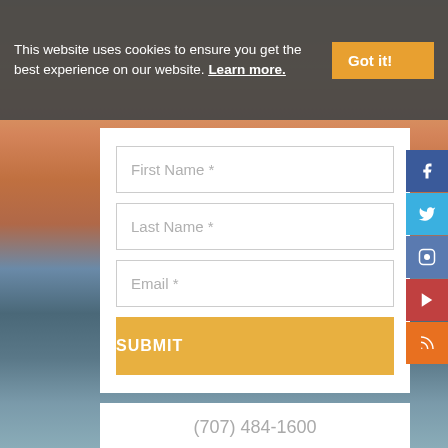This website uses cookies to ensure you get the best experience on our website. Learn more.
First Name *
Last Name *
Email *
SUBMIT
(707) 484-1600